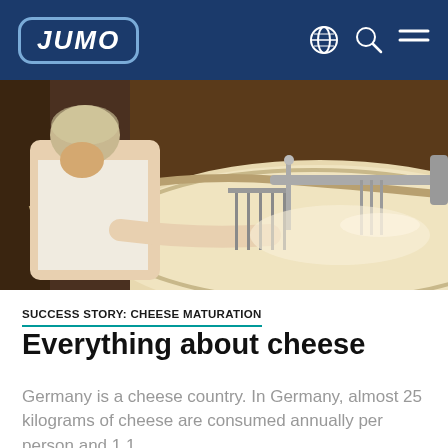JUMO
[Figure (photo): A worker in a white shirt and hair net leans over a large circular cheese vat, inspecting the milk/curd. Industrial cheese-making equipment including metal cutting harps are visible in the vat.]
SUCCESS STORY: CHEESE MATURATION
Everything about cheese
Germany is a cheese country. In Germany, almost 25 kilograms of cheese are consumed annually per person and 1.1